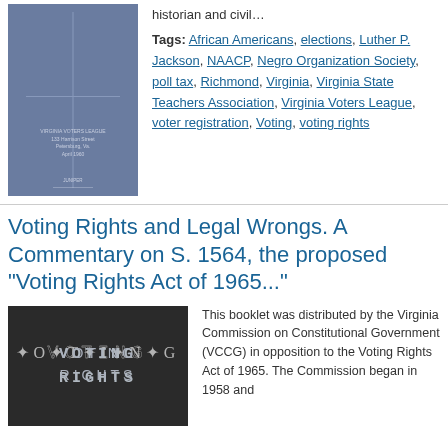[Figure (photo): Blue book cover of Virginia Voters League publication]
historian and civil…
Tags: African Americans, elections, Luther P. Jackson, NAACP, Negro Organization Society, poll tax, Richmond, Virginia, Virginia State Teachers Association, Virginia Voters League, voter registration, Voting, voting rights
Voting Rights and Legal Wrongs. A Commentary on S. 1564, the proposed "Voting Rights Act of 1965..."
[Figure (photo): Dark book cover with star-pattern text spelling VOTING RIGHTS]
This booklet was distributed by the Virginia Commission on Constitutional Government (VCCG) in opposition to the Voting Rights Act of 1965. The Commission began in 1958 and